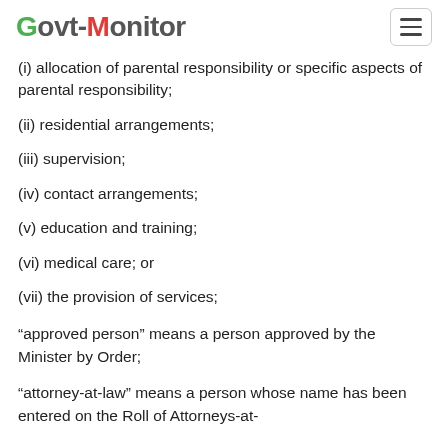Govt-Monitor
(i) allocation of parental responsibility or specific aspects of parental responsibility;
(ii) residential arrangements;
(iii) supervision;
(iv) contact arrangements;
(v) education and training;
(vi) medical care; or
(vii) the provision of services;
“approved person” means a person approved by the Minister by Order;
“attorney-at-law” means a person whose name has been entered on the Roll of Attorneys-at-